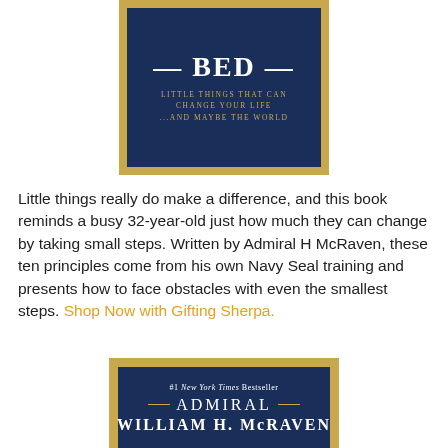[Figure (illustration): Top portion of a book cover for 'Make Your Bed' showing a navy blue and gold design with the partial title 'BED' visible at top, and subtitle 'LITTLE THINGS THAT CAN CHANGE YOUR LIFE ...AND MAYBE THE WORLD' in gold lettering on a dark navy background with gold border.]
Little things really do make a difference, and this book reminds a busy 32-year-old just how much they can change by taking small steps. Written by Admiral H McRaven, these ten principles come from his own Navy Seal training and presents how to face obstacles with even the smallest steps. Shop Now with Gifting Sherpa.
[Figure (illustration): Bottom portion of a book cover showing '#1 New York Times Bestseller' text followed by 'ADMIRAL WILLIAM H. McRAVEN' in large white letters on a navy blue and gold bordered background.]